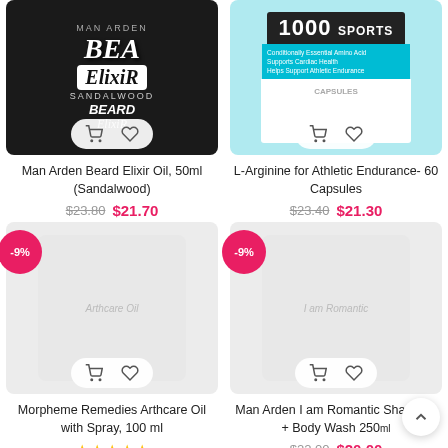[Figure (photo): Man Arden Beard Elixir Oil product image with dark/black packaging showing ElixiR Sandalwood branding and cart/heart action buttons]
Man Arden Beard Elixir Oil, 50ml (Sandalwood)
$23.80  $21.70
[Figure (photo): L-Arginine for Athletic Endurance product image with teal and dark packaging showing '1000' and 'SPORTS' text, cart/heart action buttons]
L-Arginine for Athletic Endurance- 60 Capsules
$23.40  $21.30
[Figure (photo): Morpheme Remedies Arthcare Oil with Spray product image with light grey background, -9% discount badge, cart/heart action buttons]
Morpheme Remedies Arthcare Oil with Spray, 100 ml
★★★★★
[Figure (photo): Man Arden I am Romantic Shampoo + Body Wash 250ml product image with light background, -9% discount badge, cart/heart action buttons]
Man Arden I am Romantic Shampoo + Body Wash 250ml
$22.00  $20.00